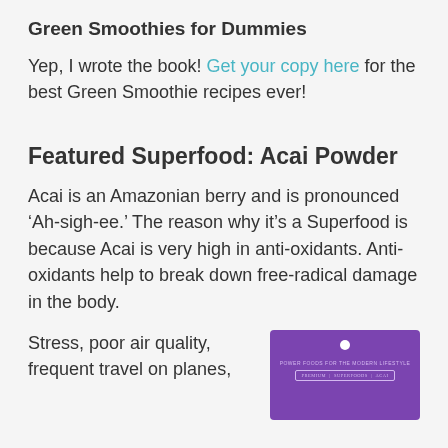Green Smoothies for Dummies
Yep, I wrote the book! Get your copy here for the best Green Smoothie recipes ever!
Featured Superfood: Acai Powder
Acai is an Amazonian berry and is pronounced ‘Ah-sigh-ee.’ The reason why it’s a Superfood is because Acai is very high in anti-oxidants. Anti-oxidants help to break down free-radical damage in the body.
Stress, poor air quality, frequent travel on planes,
[Figure (photo): Purple product packaging for an acai powder supplement with a white dot, small text reading 'Power Foods for the Modern Lifestyle']